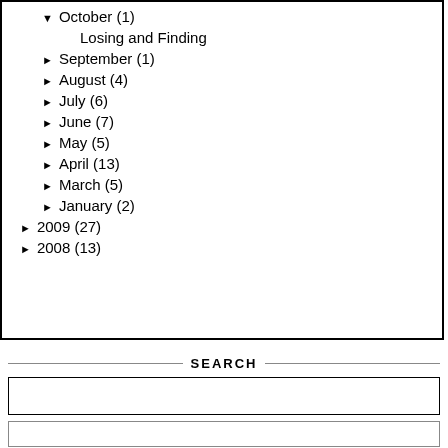▼ October (1)
Losing and Finding
► September (1)
► August (4)
► July (6)
► June (7)
► May (5)
► April (13)
► March (5)
► January (2)
► 2009 (27)
► 2008 (13)
SEARCH